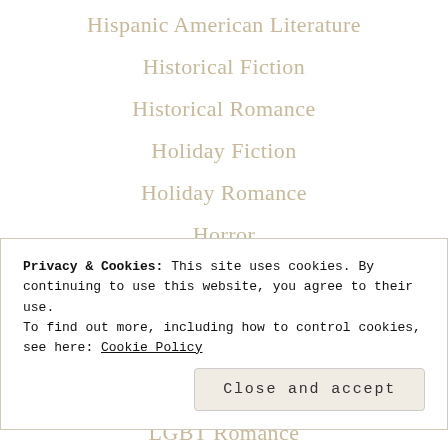Hispanic American Literature
Historical Fiction
Historical Romance
Holiday Fiction
Holiday Romance
Horror
Horror Romance
Human Sexuality
Humor
Privacy & Cookies: This site uses cookies. By continuing to use this website, you agree to their use.
To find out more, including how to control cookies, see here: Cookie Policy
Close and accept
LGBT Romance